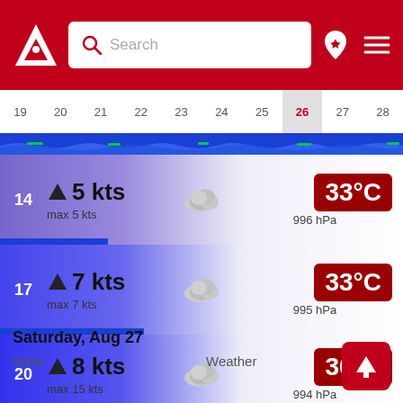[Figure (screenshot): App header with red background, logo, search bar, location pin and hamburger menu icons]
[Figure (infographic): Horizontal date strip showing dates 19-28, with 26 highlighted in red on gray background]
[Figure (infographic): Weather row for hour 14: wind arrow, 5 kts, max 5 kts, cloud icon, 33°C (dark red badge), 996 hPa]
[Figure (infographic): Weather row for hour 17: wind arrow, 7 kts, max 7 kts, cloud icon, 33°C (dark red badge), 995 hPa]
[Figure (infographic): Weather row for hour 20: wind arrow, 8 kts, max 15 kts, cloud icon, 30°C (dark red badge), 994 hPa]
[Figure (infographic): Weather row for hour 23: wind arrow, 7 kts, max 20 kts, cloud icon, 25°C (orange badge), 994 hPa]
Saturday, Aug 27
Wind    Weather